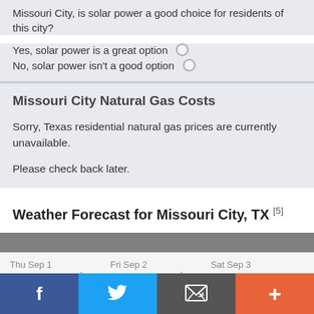Missouri City, is solar power a good choice for residents of this city?
Yes, solar power is a great option
No, solar power isn't a good option
Missouri City Natural Gas Costs
Sorry, Texas residential natural gas prices are currently unavailable.
Please check back later.
Weather Forecast for Missouri City, TX [5]
[Figure (infographic): Weather forecast showing Thu Sep 1 91°F Moderate Rain, Fri Sep 2 85°F Light Rain, Sat Sep 3 82°F Moderate Rain with weather icons]
f  Twitter  envelope  +